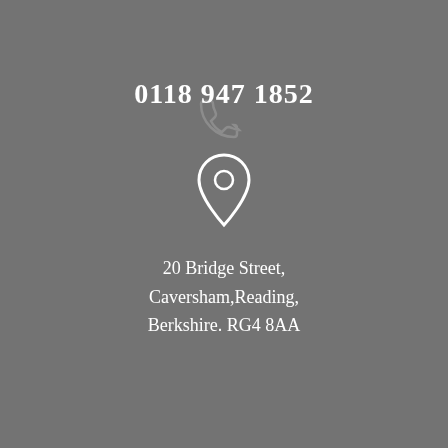[Figure (illustration): Faint outline of a phone handset icon in the upper center area of the page]
0118 947 1852
[Figure (illustration): White map pin / location marker icon]
20 Bridge Street, Caversham,Reading, Berkshire. RG4 8AA